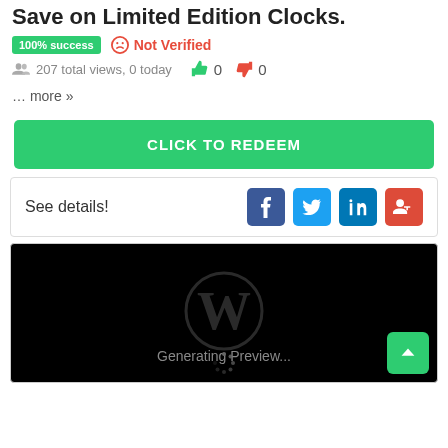Save on Limited Edition Clocks.
100% success  ☹ Not Verified
207 total views, 0 today  👍 0  👎 0
… more »
CLICK TO REDEEM
See details!
[Figure (screenshot): WordPress logo on black background with 'Generating Preview...' text and a spinner icon]
[Figure (other): Green scroll-to-top button with upward chevron]